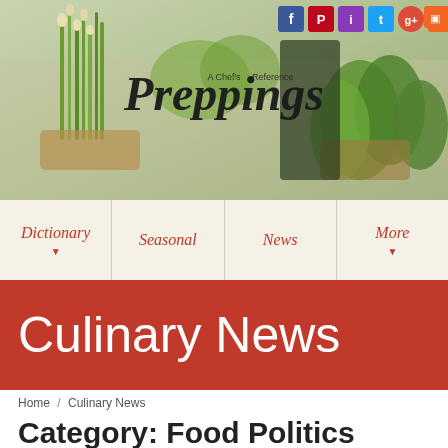[Figure (photo): Website header photo of fresh vegetables including green onions, leafy greens, and herbs on a market table with 'Preppings – A Chef's Reference' logo text overlay]
Preppings – A Chef's Reference
Dictionary
Seasonal
News
More
Culinary News
Home / Culinary News
Category: Food Politics